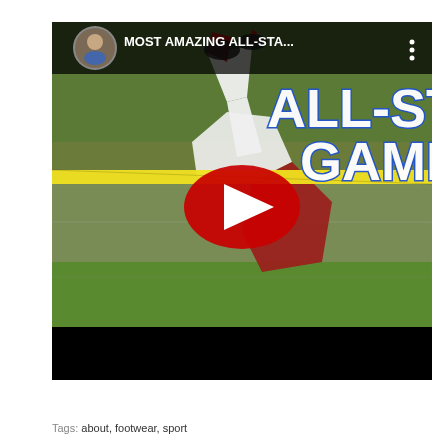[Figure (screenshot): YouTube video thumbnail showing a baseball player flipping over a chain-link fence in red and white uniform, with text overlay 'ALL-STA... GAME' in bold white/blue letters, a YouTube play button in the center, and a circular profile avatar in the top-left with title 'MOST AMAZING ALL-STA...']
Tags: about, footwear, sport